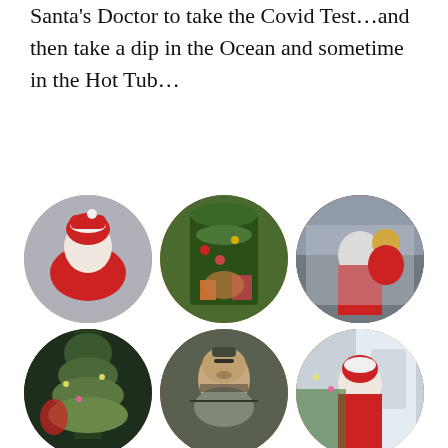…how to December an Overnighter to visit Santa's Doctor to take the Covid Test…and then take a dip in the Ocean and sometime in the Hot Tub…
[Figure (photo): Six circular photo thumbnails arranged in two rows of three, showing various Christmas-themed images including Santa Claus figures, a dog near a Christmas tree, Santa reading a book, a Christmas tree scene, a bearded man with glasses, and a man in Santa hat waving. A partial third row shows three more circular thumbnails at the bottom.]